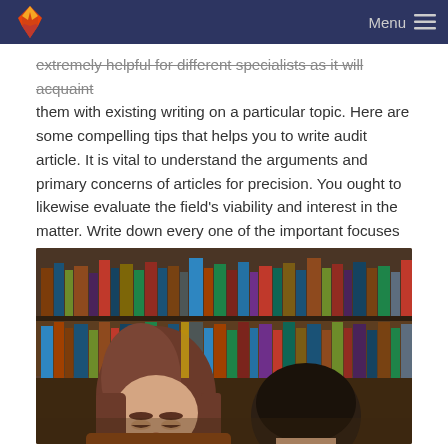Menu
extremely helpful for different specialists as it will acquaint them with existing writing on a particular topic. Here are some compelling tips that helps you to write audit article. It is vital to understand the arguments and primary concerns of articles for precision. You ought to likewise evaluate the field's viability and interest in the matter. Write down every one of the important focuses and your proposal statement ought to be your very own concise summation assessment on the article.
[Figure (photo): Students studying in a library with bookshelves in the background. Two students with brown hair are visible in the foreground, looking down at their work.]